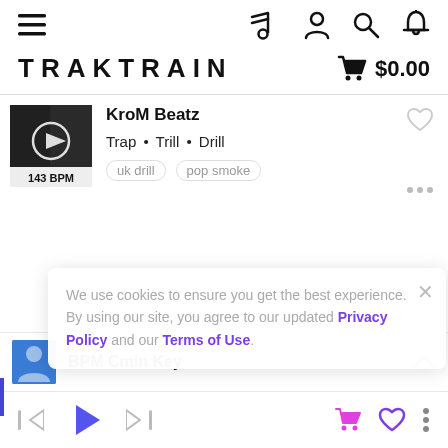Navigation bar with hamburger menu, music note icon, user icon, search icon, bell icon
TRAKTRAIN  $0.00
[Figure (screenshot): Beat card showing KroM Beatz artist thumbnail at 143 BPM with play button overlay. Tags: Trap, Trill, Drill. Sub-tags: uk drill, pop smoke. Heart (favorite) icon top right, ellipsis icon bottom right.]
We use cookies to ensure you get the best experience. By using our site, you agree to our updated Privacy Policy and our Terms of Use.
BPM Cmin Key
[Figure (screenshot): Music player controls bar at bottom with skip-back, play, skip-forward buttons on left; pink shopping cart, purple heart, and three-dots menu icons on right.]